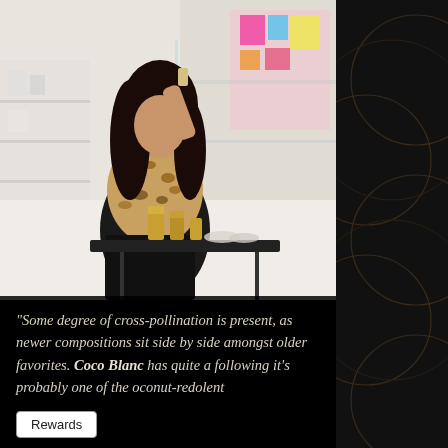[Figure (photo): A woman in a leopard-print top sitting at a black table in what appears to be a beauty/perfume store, holding up a product, with gold-capped bottles on the table and colorful product displays in the background.]
"Some degree of cross-pollination is present, as newer compositions sit side by side amongst older favorites. Coco Blanc has quite a following it's probably one of the oconut-redolent
Rewards